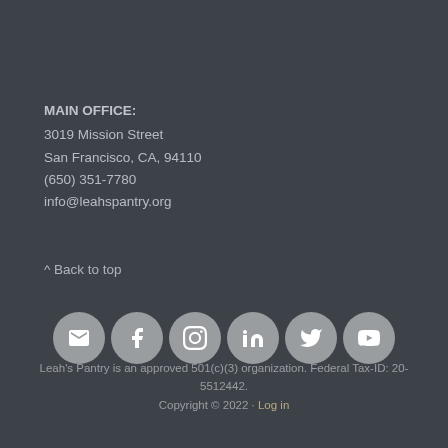MAIN OFFICE:
3019 Mission Street
San Francisco, CA, 94110
(650) 351-7780
info@leahspantry.org
^ Back to top
[Figure (infographic): Row of 6 social media icon circles (email, Facebook, Instagram, LinkedIn, Twitter, YouTube) with grey circular backgrounds and white icons]
Leah's Pantry is an approved 501(c)(3) organization. Federal Tax-ID: 20-5512442.
Copyright © 2022 · Log in